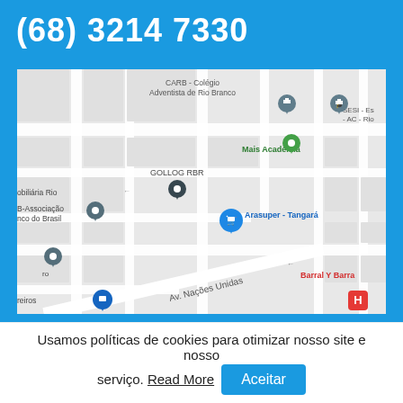(68) 3214 7330
[Figure (map): Google Maps screenshot showing streets in Rio Branco area with landmarks: CARB - Colégio Adventista de Rio Branco, SESI - Es... - AC - Rio, Mais Academia, GOLLOG RBR, obiliária Rio, B-Associação nco do Brasil, Arasuper - Tangará, Barral Y Barra, Av. Nações Unidas, hospital marker (H)]
Usamos políticas de cookies para otimizar nosso site e nosso serviço. Read More  Aceitar